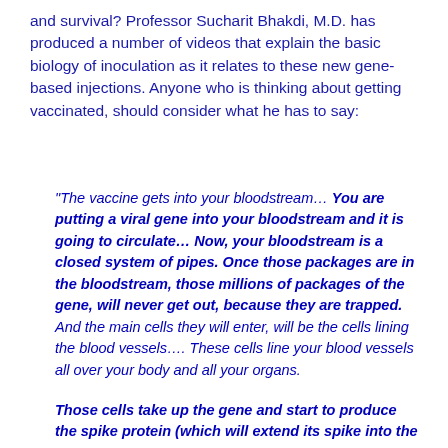and survival? Professor Sucharit Bhakdi, M.D. has produced a number of videos that explain the basic biology of inoculation as it relates to these new gene-based injections. Anyone who is thinking about getting vaccinated, should consider what he has to say:
“The vaccine gets into your bloodstream… You are putting a viral gene into your bloodstream and it is going to circulate… Now, your bloodstream is a closed system of pipes. Once those packages are in the bloodstream, those millions of packages of the gene, will never get out, because they are trapped. And the main cells they will enter, will be the cells lining the blood vessels…. These cells line your blood vessels all over your body and all your organs.
Those cells take up the gene and start to produce the spike protein (which will extend its spike into the